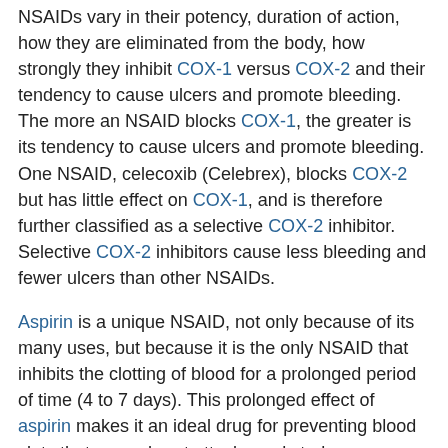NSAIDs vary in their potency, duration of action, how they are eliminated from the body, how strongly they inhibit COX-1 versus COX-2 and their tendency to cause ulcers and promote bleeding. The more an NSAID blocks COX-1, the greater is its tendency to cause ulcers and promote bleeding. One NSAID, celecoxib (Celebrex), blocks COX-2 but has little effect on COX-1, and is therefore further classified as a selective COX-2 inhibitor. Selective COX-2 inhibitors cause less bleeding and fewer ulcers than other NSAIDs.
Aspirin is a unique NSAID, not only because of its many uses, but because it is the only NSAID that inhibits the clotting of blood for a prolonged period of time (4 to 7 days). This prolonged effect of aspirin makes it an ideal drug for preventing blood clots that cause heart attacks and strokes.